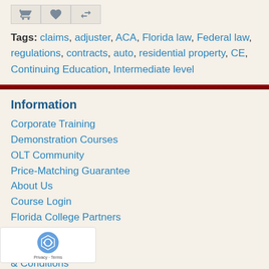[Figure (other): Three icon buttons in a row: shopping cart, heart/favorite, and compare arrows icons in gray boxes]
Tags: claims, adjuster, ACA, Florida law, Federal law, regulations, contracts, auto, residential property, CE, Continuing Education, Intermediate level
Information
Corporate Training
Demonstration Courses
OLT Community
Price-Matching Guarantee
About Us
Course Login
Florida College Partners
Privacy Policy
Policy
& Conditions
Customer Service